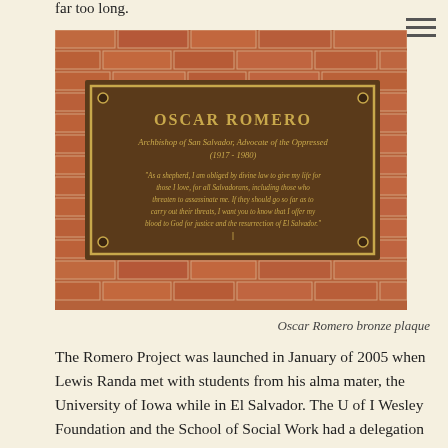far too long.
[Figure (photo): Oscar Romero bronze plaque mounted on a brick wall. The plaque reads: OSCAR ROMERO, Archbishop of San Salvador, Advocate of the Oppressed (1917 - 1980). Quote: 'As a shepherd, I am obliged by divine law to give my life for those I love, for all Salvadorans, including those who threaten to assassinate me. If they should go so far as to carry out their threats, I want you to know that I offer my blood to God for justice and the resurrection of El Salvador.']
Oscar Romero bronze plaque
The Romero Project was launched in January of 2005 when Lewis Randa met with students from his alma mater, the University of Iowa while in El Salvador. The U of I Wesley Foundation and the School of Social Work had a delegation in El Salvador to do volunteer work